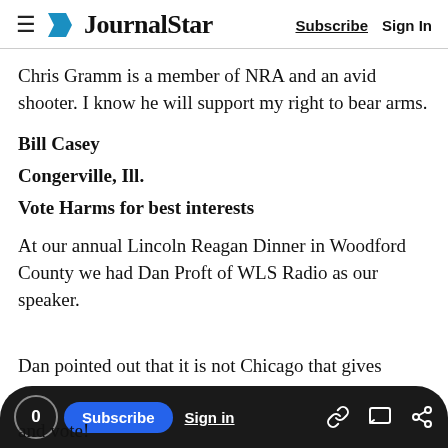≡ JournalStar   Subscribe   Sign In
Chris Gramm is a member of NRA and an avid shooter. I know he will support my right to bear arms.
Bill Casey
Congerville, Ill.
Vote Harms for best interests
At our annual Lincoln Reagan Dinner in Woodford County we had Dan Proft of WLS Radio as our speaker.
Dan pointed out that it is not Chicago that gives
and vote!